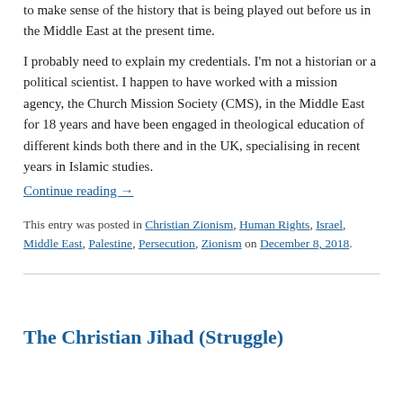to make sense of the history that is being played out before us in the Middle East at the present time.
I probably need to explain my credentials. I'm not a historian or a political scientist. I happen to have worked with a mission agency, the Church Mission Society (CMS), in the Middle East for 18 years and have been engaged in theological education of different kinds both there and in the UK, specialising in recent years in Islamic studies.
Continue reading →
This entry was posted in Christian Zionism, Human Rights, Israel, Middle East, Palestine, Persecution, Zionism on December 8, 2018.
The Christian Jihad (Struggle)